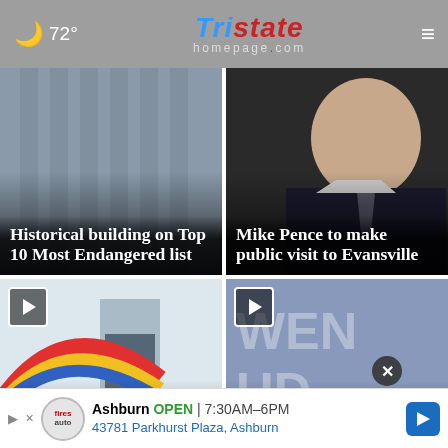72° Tristate Homepage.com
[Figure (photo): Building exterior photo with text overlay: Historical building on Top 10 Most Endangered list]
[Figure (photo): Man in suit and tie speaking, text overlay: Mike Pence to make public visit to Evansville]
[Figure (photo): Holiday World sign with rainbow logo, video play button, partial text: Holiday World]
[Figure (photo): Owensboro sign, video play button, partial text: Owensboro]
Ashburn OPEN | 7:30AM–6PM 43781 Parkhurst Plaza, Ashburn